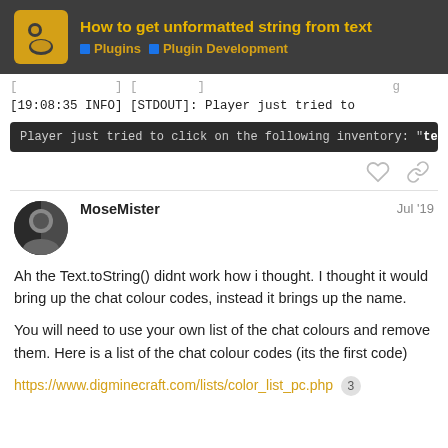How to get unformatted string from text | Plugins | Plugin Development
[19:08:35 INFO] [STDOUT]: Player just tried to
[Figure (screenshot): Dark code block showing: Player just tried to click on the following inventory: "test-842"!]
MoseMister  Jul '19
Ah the Text.toString() didnt work how i thought. I thought it would bring up the chat colour codes, instead it brings up the name.

You will need to use your own list of the chat colours and remove them. Here is a list of the chat colour codes (its the first code)
https://www.digminecraft.com/lists/color_list_pc.php  3